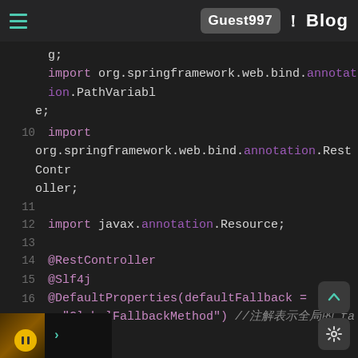Guest997! Blog
[Figure (screenshot): Code editor screenshot showing Java import statements and class annotations with line numbers. Lines show: import org.springframework.web.bind.annotation.PathVariable; (line 9), import org.springframework.web.bind.annotation.RestController; (line 10), blank line 11, import javax.annotation.Resource; (line 12), blank line 13, @RestController (line 14), @Slf4j (line 15), @DefaultProperties(defaultFallback = "GlobalFallbackMethod") //注解表示全局的 fallback 方法 (line 16), public class OrderController { (line 17), @Resource (line 18 partial), private PaymentService paymentService; (line 18 partial)]
import org.springframework.web.bind.annotation.PathVariable;
import org.springframework.web.bind.annotation.RestController;
import javax.annotation.Resource;
@RestController
@Slf4j
@DefaultProperties(defaultFallback = "GlobalFallbackMethod") //注解表示全局的 fallback 方法
public class OrderController {
@Resource
private PaymentService paymentService;